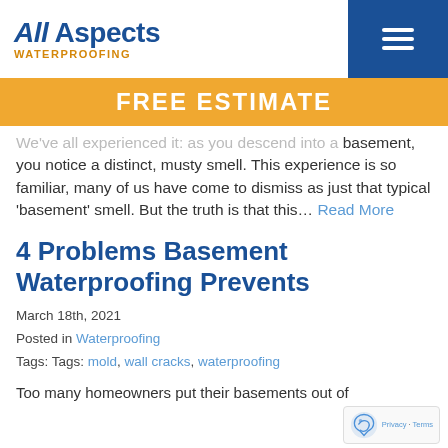All Aspects WATERPROOFING
FREE ESTIMATE
We've all experienced it: as you descend into a basement, you notice a distinct, musty smell. This experience is so familiar, many of us have come to dismiss as just that typical 'basement' smell. But the truth is that this… Read More
4 Problems Basement Waterproofing Prevents
March 18th, 2021
Posted in Waterproofing
Tags: Tags: mold, wall cracks, waterproofing
Too many homeowners put their basements out of